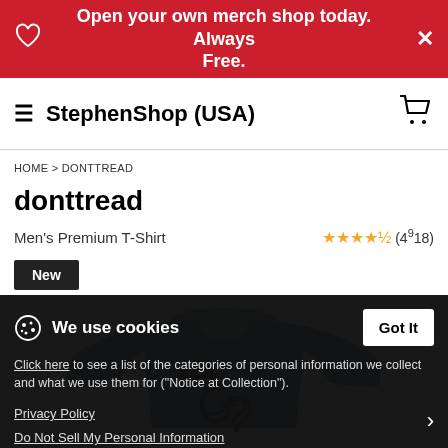Open your own merch shop today. Always Free.
StephenShop (USA)
HOME > DONTTREAD
donttread
Men's Premium T-Shirt  ★★★★½ (4918)
New
[Figure (photo): Blue men's premium t-shirt with a Gadsden snake graphic printed on the front]
We use cookies
Click here to see a list of the categories of personal information we collect and what we use them for ("Notice at Collection").
Privacy Policy
Do Not Sell My Personal Information
By using this website, I agree to the Terms and Conditions